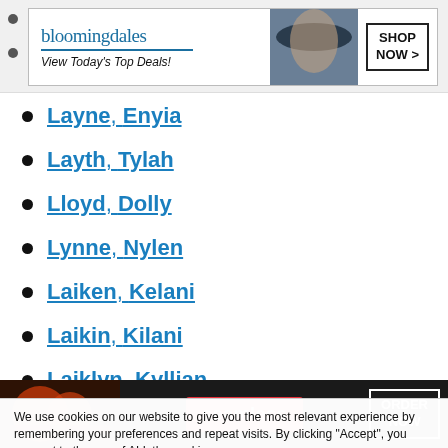[Figure (screenshot): Bloomingdale's advertisement banner: logo, 'View Today's Top Deals!', woman with hat, SHOP NOW button]
Layne, Enyia
Layth, Tylah
Lloyd, Dolly
Lynne, Nylen
Laiken, Kelani
Laikin, Kilani
Laiklyn, Kyllian
Lainey, Naveli
We use cookies on our website to give you the most relevant experience by remembering your preferences and repeat visits. By clicking “Accept”, you consent to the use of ALL the cookies.
Do not sell my personal information.
[Figure (screenshot): Seamless food delivery advertisement with pizza image and ORDER NOW button]